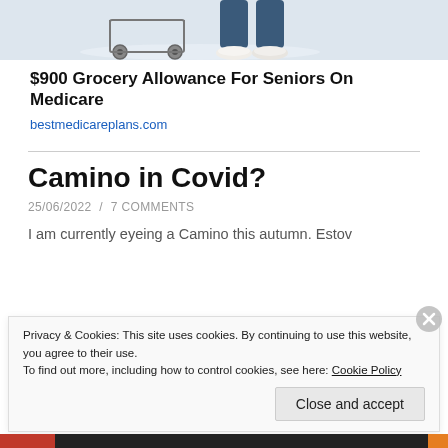[Figure (photo): Bottom portion of a person standing in a hospital/clinical setting, showing legs in blue scrubs and white sneakers, with a wheeled cart/trolley visible. Light-colored floor.]
$900 Grocery Allowance For Seniors On Medicare
bestmedicareplans.com
Camino in Covid?
25/06/2022  /  7 COMMENTS
I am currently eyeing a Camino this autumn. Estov
Privacy & Cookies: This site uses cookies. By continuing to use this website, you agree to their use.
To find out more, including how to control cookies, see here: Cookie Policy
Close and accept